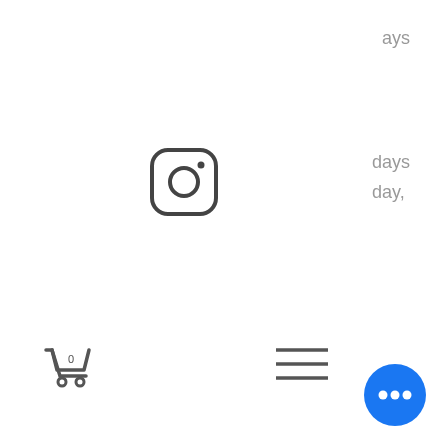ays
[Figure (logo): Instagram logo icon (rounded square with camera outline)]
days
day,
[Figure (illustration): Shopping cart icon with 0 badge]
[Figure (illustration): Hamburger menu icon (three horizontal lines)]
UK Returns
You can return this to our Head Office for a full refund. To do this, please follow the steps below:
Contact Customer Services email us using the 'Conta button detailing your ord number, the item you would